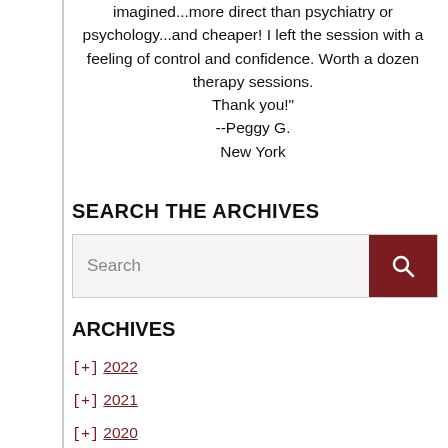imagined...more direct than psychiatry or psychology...and cheaper! I left the session with a feeling of control and confidence. Worth a dozen therapy sessions. Thank you!" --Peggy G. New York
SEARCH THE ARCHIVES
[Figure (other): Search input box with dark red search button containing magnifying glass icon]
ARCHIVES
[+] 2022
[+] 2021
[+] 2020
[+] 2019
[+] 2018
[+] 2017
[+] 2016